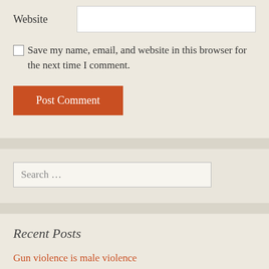Website
Save my name, email, and website in this browser for the next time I comment.
Post Comment
Search …
Recent Posts
Gun violence is male violence
Remembering Rob Ford